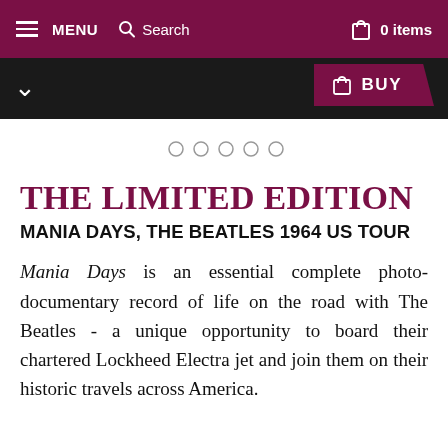MENU  Search  0 items
BUY
[Figure (other): Five pagination dots (circles), indicating a carousel position indicator]
THE LIMITED EDITION
MANIA DAYS, THE BEATLES 1964 US TOUR
Mania Days is an essential complete photo-documentary record of life on the road with The Beatles - a unique opportunity to board their chartered Lockheed Electra jet and join them on their historic travels across America.